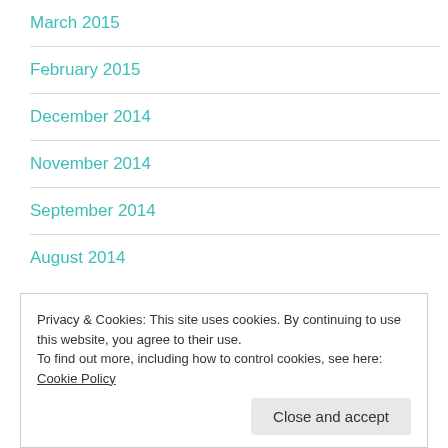March 2015
February 2015
December 2014
November 2014
September 2014
August 2014
Privacy & Cookies: This site uses cookies. By continuing to use this website, you agree to their use.
To find out more, including how to control cookies, see here: Cookie Policy
Close and accept